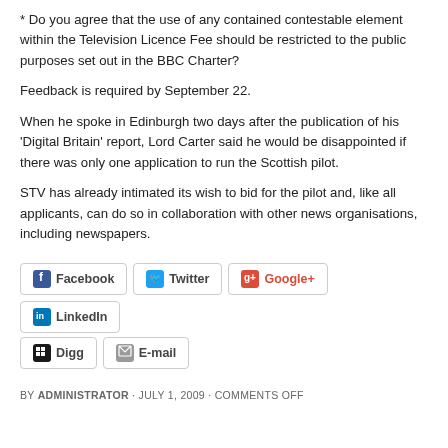* Do you agree that the use of any contained contestable element within the Television Licence Fee should be restricted to the public purposes set out in the BBC Charter?
Feedback is required by September 22.
When he spoke in Edinburgh two days after the publication of his ‘Digital Britain’ report, Lord Carter said he would be disappointed if there was only one application to run the Scottish pilot.
STV has already intimated its wish to bid for the pilot and, like all applicants, can do so in collaboration with other news organisations, including newspapers.
[Figure (other): Social sharing buttons: Facebook, Twitter, Google+, LinkedIn, Digg, E-mail]
BY ADMINISTRATOR · JULY 1, 2009 · COMMENTS OFF